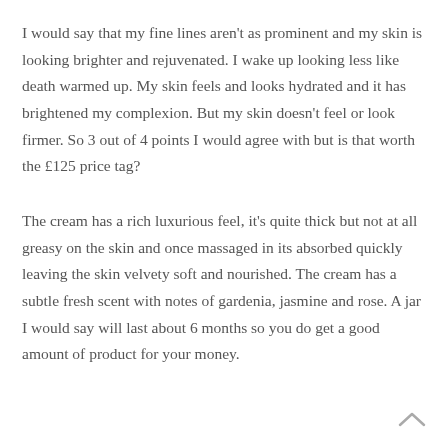I would say that my fine lines aren't as prominent and my skin is looking brighter and rejuvenated. I wake up looking less like death warmed up. My skin feels and looks hydrated and it has brightened my complexion. But my skin doesn't feel or look firmer. So 3 out of 4 points I would agree with but is that worth the £125 price tag?
The cream has a rich luxurious feel, it's quite thick but not at all greasy on the skin and once massaged in its absorbed quickly leaving the skin velvety soft and nourished. The cream has a subtle fresh scent with notes of gardenia, jasmine and rose. A jar I would say will last about 6 months so you do get a good amount of product for your money.